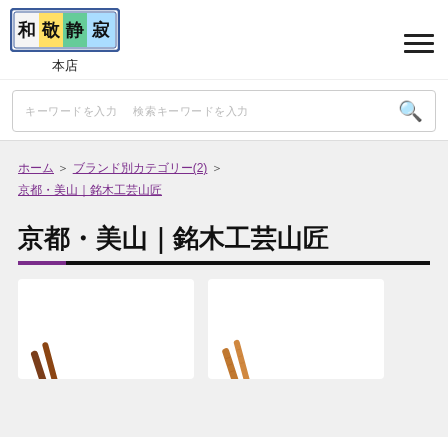[Figure (logo): Japanese store logo with colorful kanji characters in rectangular frame, text reading 和敬静寂]
本店
[Figure (other): Hamburger menu icon (three horizontal lines)]
キーワードを入力　　検索キーワードを入力
ホーム > ブランド別カテゴリー(2) > 京都・美山｜銘木工芸山匠
京都・美山｜銘木工芸山匠
[Figure (photo): Two product cards showing wooden chopsticks on white background - left card shows dark brown chopsticks, right card shows lighter brown/natural wood chopsticks]